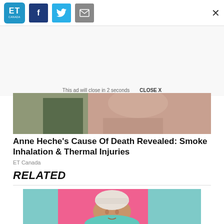ET Canada
[Figure (screenshot): Top article image showing a person with skin and greenery visible, cropped]
Anne Heche’s Cause Of Death Revealed: Smoke Inhalation & Thermal Injuries
ET Canada
RELATED
[Figure (photo): Person with short platinum/white hair against a pink and teal background, looking at camera]